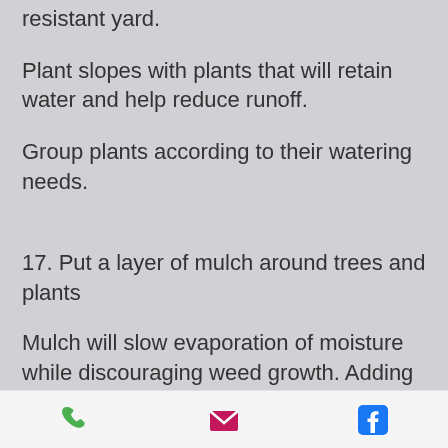resistant yard.
Plant slopes with plants that will retain water and help reduce runoff.
Group plants according to their watering needs.
17. Put a layer of mulch around trees and plants
Mulch will slow evaporation of moisture while discouraging weed growth. Adding 2 - 4 inches of organic material such as compost or bark mulch will increase the ability of the
phone | email | facebook